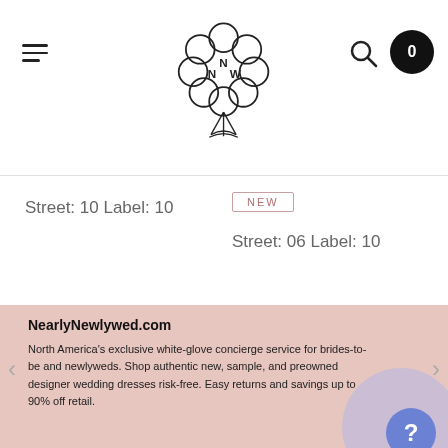NNW logo header with hamburger menu, search icon, and cart (0)
Street: 10 Label: 10
NEW
Street: 06 Label: 10
NearlyNewlywed.com
North America's exclusive white-glove concierge service for brides-to-be and newlyweds. Shop authentic new, sample, and preowned designer wedding dresses risk-free. Easy returns and savings up to 90% off retail.